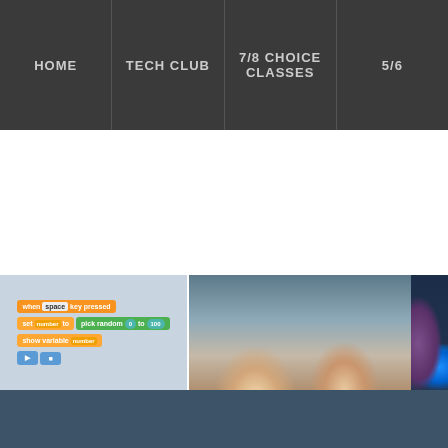HOME | TECH CLUB | 7/8 CHOICE CLASSES | 5/6...
[Figure (screenshot): Scratch programming interface showing block code: when space key pressed, set number to pick random 0 to 100, show variable number]
[Figure (photo): Students working at computers in a classroom, girl with glasses and ponytail visible in foreground]
[Figure (photo): 3D printed objects in blue on dark background with purple columns]